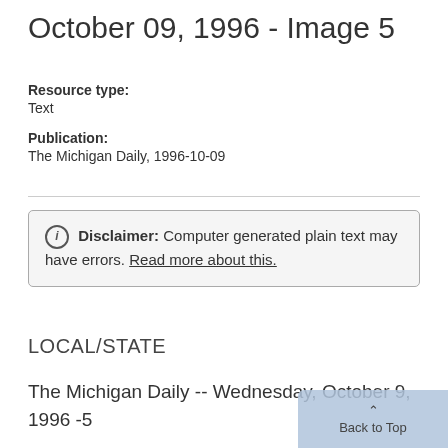October 09, 1996 - Image 5
Resource type:
Text
Publication:
The Michigan Daily, 1996-10-09
Disclaimer: Computer generated plain text may have errors. Read more about this.
LOCAL/STATE
The Michigan Daily -- Wednesday, October 9, 1996 -5